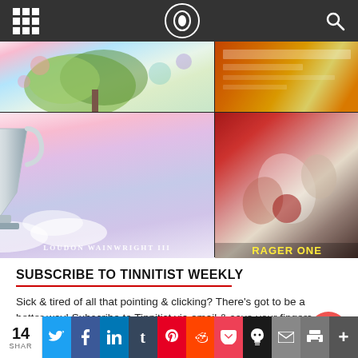Navigation bar with grid menu, Tinnitist logo, and search icon
[Figure (photo): Two-column image grid showing: top-left colorful tree illustration, top-right orange/yellow album cover, bottom-left silver trophy/cup with clouds (Loudon Wainwright III), bottom-right comic book scene]
SUBSCRIBE TO TINNITIST WEEKLY
Sick & tired of all that pointing & clicking? There's got to be a better way! Subscribe to Tinnitist via email & save your fingers.
14 SHAR | Twitter | Facebook | LinkedIn | Tumblr | Pinterest | Reddit | Pocket | Skull | Email | Print | More